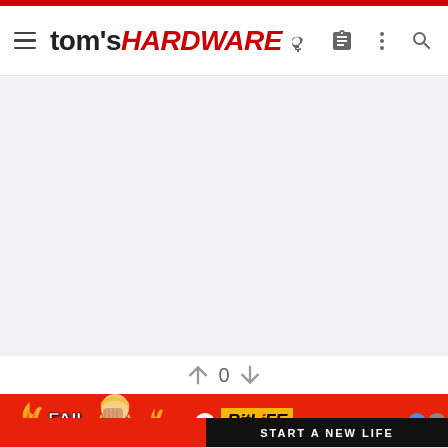tom's HARDWARE
[Figure (screenshot): Blank light gray content area, main page content placeholder]
[Figure (infographic): Vote/rating area with up arrow, 0, down arrow]
[Figure (infographic): BitLife advertisement banner: FAIL text with flame, cartoon character, BitLife logo with sperm icon, START A NEW LIFE text, question mark and X close buttons]